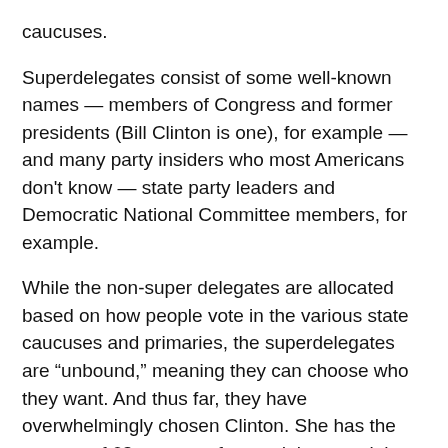caucuses.
Superdelegates consist of some well-known names — members of Congress and former presidents (Bill Clinton is one), for example — and many party insiders who most Americans don't know — state party leaders and Democratic National Committee members, for example.
While the non-super delegates are allocated based on how people vote in the various state caucuses and primaries, the superdelegates are “unbound,” meaning they can choose who they want. And thus far, they have overwhelmingly chosen Clinton. She has the support of 63 percent of superdelegates right now.
This can make for delegate counts that don’t quite seem to make sense considering vote totals. In New Hampshire, where Sanders won the primary by a 22-point margin, both he and Clinton have 15